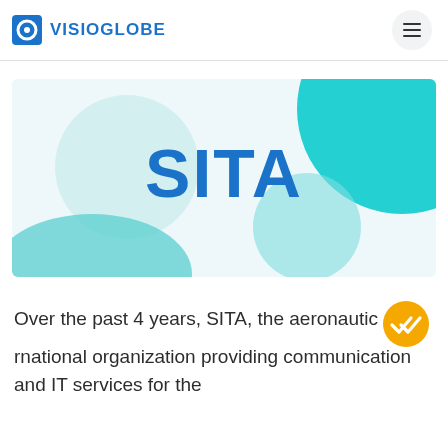VISIOGLOBE
[Figure (logo): SITA company logo banner with teal/turquoise decorative circles on a light background]
Over the past 4 years, SITA, the aeronautic international organization providing communication and IT services for the